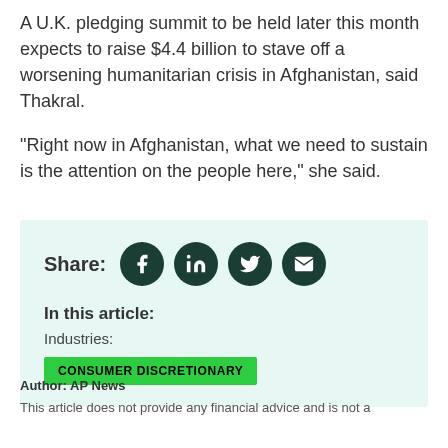A U.K. pledging summit to be held later this month expects to raise $4.4 billion to stave off a worsening humanitarian crisis in Afghanistan, said Thakral.
"Right now in Afghanistan, what we need to sustain is the attention on the people here," she said.
[Figure (infographic): Share box with social media icons (Facebook, LinkedIn, Twitter, Email) and 'In this article:' section with Industries label and CONSUMER DISCRETIONARY tag button]
Author: AP News
This article does not provide any financial advice and is not a